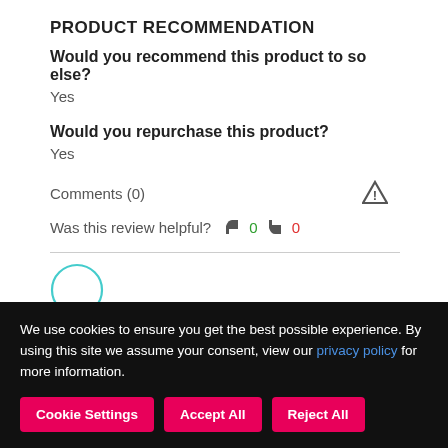PRODUCT RECOMMENDATION
Would you recommend this product to someone else?
Yes
Would you repurchase this product?
Yes
Comments (0)
Was this review helpful?  👍 0  👎 0
We use cookies to ensure you get the best possible experience. By using this site we assume your consent, view our privacy policy for more information.